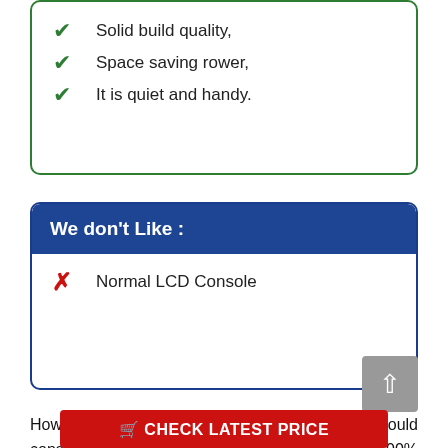✔ Solid build quality,
✔ Space saving rower,
✔ It is quiet and handy.
We don't Like :
✗ Normal LCD Console
However, if you have a budget problem so you should consider this rowing machine, it will give you 100% hassle-free best cardio exercise for full-body. It is one of the best rowing machines for the apartment.